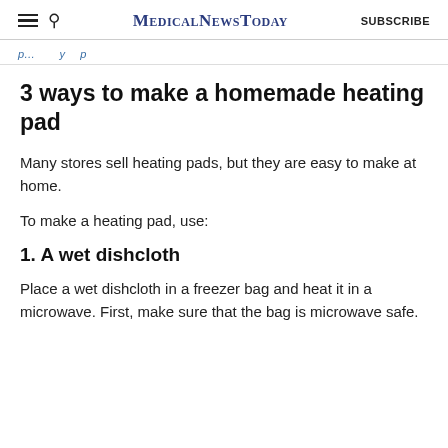MedicalNewsToday | SUBSCRIBE
3 ways to make a homemade heating pad
Many stores sell heating pads, but they are easy to make at home.
To make a heating pad, use:
1. A wet dishcloth
Place a wet dishcloth in a freezer bag and heat it in a microwave. First, make sure that the bag is microwave safe.